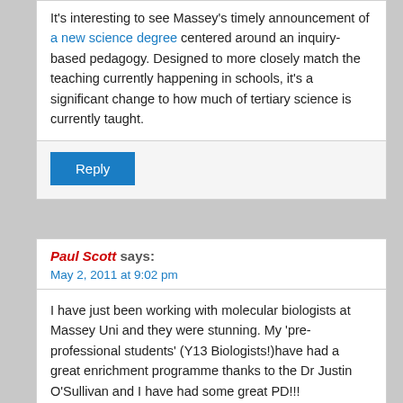It's interesting to see Massey's timely announcement of a new science degree centered around an inquiry-based pedagogy. Designed to more closely match the teaching currently happening in schools, it's a significant change to how much of tertiary science is currently taught.
Reply
Paul Scott says:
May 2, 2011 at 9:02 pm
I have just been working with molecular biologists at Massey Uni and they were stunning. My 'pre-professional students' (Y13 Biologists!)have had a great enrichment programme thanks to the Dr Justin O'Sullivan and I have had some great PD!!!